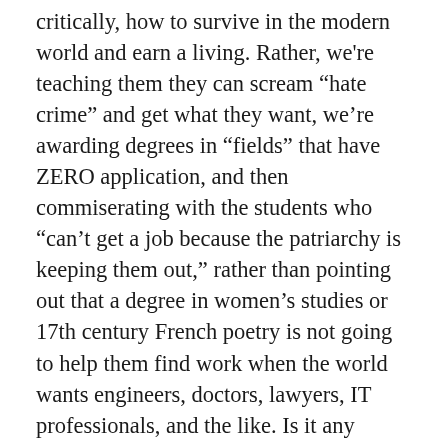critically, how to survive in the modern world and earn a living. Rather, we're teaching them they can scream “hate crime” and get what they want, we’re awarding degrees in “fields” that have ZERO application, and then commiserating with the students who “can’t get a job because the patriarchy is keeping them out,” rather than pointing out that a degree in women’s studies or 17th century French poetry is not going to help them find work when the world wants engineers, doctors, lawyers, IT professionals, and the like. Is it any wonder that we have people working at McDonald’s demanding the same pay as an entry level IT professional?